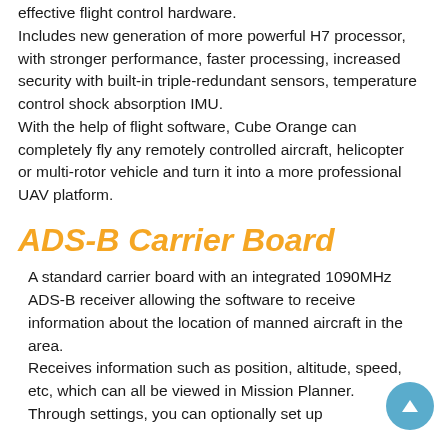effective flight control hardware.
Includes new generation of more powerful H7 processor, with stronger performance, faster processing, increased security with built-in triple-redundant sensors, temperature control shock absorption IMU.
With the help of flight software, Cube Orange can completely fly any remotely controlled aircraft, helicopter
or multi-rotor vehicle and turn it into a more professional UAV platform.
ADS-B Carrier Board
A standard carrier board with an integrated 1090MHz ADS-B receiver allowing the software to receive information about the location of manned aircraft in the area.
Receives information such as position, altitude, speed, etc, which can all be viewed in Mission Planner.
Through settings, you can optionally set up